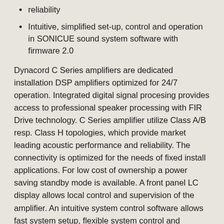reliability
Intuitive, simplified set-up, control and operation in SONICUE sound system software with firmware 2.0
Dynacord C Series amplifiers are dedicated installation DSP amplifiers optimized for 24/7 operation. Integrated digital signal procesing provides access to professional speaker processing with FIR Drive technology. C Series amplifier utilize Class A/B resp. Class H topologies, which provide market leading acoustic performance and reliability. The connectivity is optimized for the needs of fixed install applications. For low cost of ownership a power saving standby mode is available. A front panel LC display allows local control and supervision of the amplifier. An intuitive system control software allows fast system setup, flexible system control and comprehensive supervision.
SPECIFICATIONS
Load Impedance